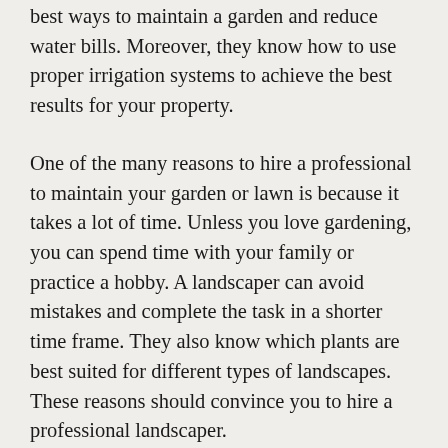best ways to maintain a garden and reduce water bills. Moreover, they know how to use proper irrigation systems to achieve the best results for your property.
One of the many reasons to hire a professional to maintain your garden or lawn is because it takes a lot of time. Unless you love gardening, you can spend time with your family or practice a hobby. A landscaper can avoid mistakes and complete the task in a shorter time frame. They also know which plants are best suited for different types of landscapes. These reasons should convince you to hire a professional landscaper.
Another reason to hire a landscaper is that a beautiful garden will increase the value of your property. In addition, homebuyers will appreciate the look of a well-maintained